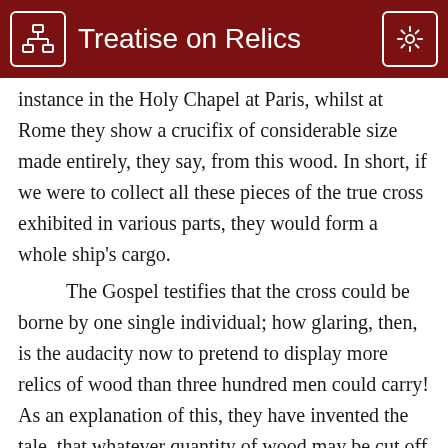Treatise on Relics
instance in the Holy Chapel at Paris, whilst at Rome they show a crucifix of considerable size made entirely, they say, from this wood. In short, if we were to collect all these pieces of the true cross exhibited in various parts, they would form a whole ship's cargo. The Gospel testifies that the cross could be borne by one single individual; how glaring, then, is the audacity now to pretend to display more relics of wood than three hundred men could carry! As an explanation of this, they have invented the tale, that whatever quantity of wood may be cut off this true cross, its size never decreases. This is,